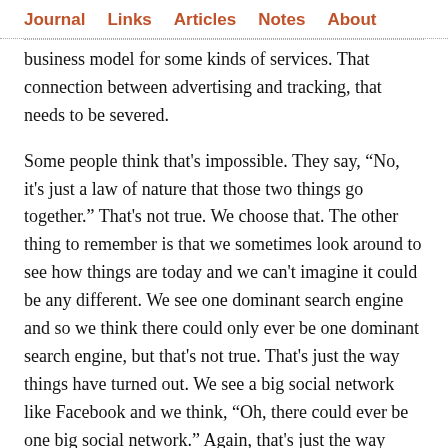Journal  Links  Articles  Notes  About
business model for some kinds of services. That connection between advertising and tracking, that needs to be severed.
Some people think that's impossible. They say, “No, it's just a law of nature that those two things go together.” That's not true. We choose that. The other thing to remember is that we sometimes look around to see how things are today and we can't imagine it could be any different. We see one dominant search engine and so we think there could only ever be one dominant search engine, but that's not true. That's just the way things have turned out. We see a big social network like Facebook and we think, “Oh, there could ever be one big social network.” Again, that's just the way things have turned out in our situation.
I think the worst thing we can do is assume things are inevitable and it’s inevitable that things end up that way. That's particularly true when it comes to surveillance and